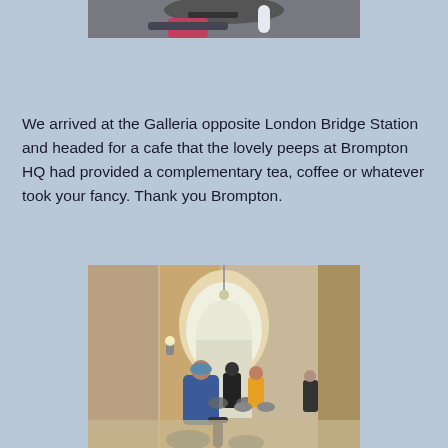[Figure (photo): Partial photo at top of page showing a cyclist with a water bottle on a bicycle, cropped view from above.]
We arrived at the Galleria opposite London Bridge Station and headed for a cafe that the lovely peeps at Brompton HQ had provided a complementary tea, coffee or whatever took your fancy. Thank you Brompton.
[Figure (photo): Photo of a group of cyclists with children riding through a brick archway/tunnel passage, with a person standing to the right side near a door. The tunnel leads to a bright courtyard beyond.]